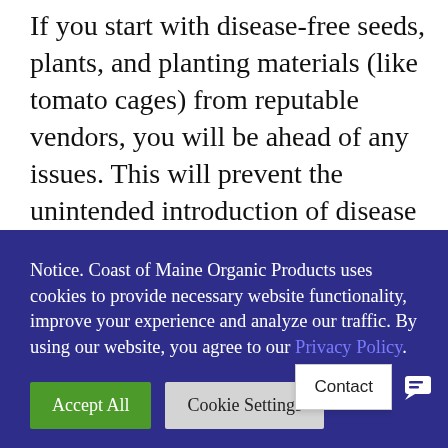If you start with disease-free seeds, plants, and planting materials (like tomato cages) from reputable vendors, you will be ahead of any issues. This will prevent the unintended introduction of disease to your garden. All
[Figure (screenshot): Cookie consent overlay with dark blue/navy background. Text reads: 'Notice. Coast of Maine Organic Products uses cookies to provide necessary website functionality, improve your experience and analyze our traffic. By using our website, you agree to our Privacy Policy.' Two buttons below: 'Accept All' (green) and 'Cookie Settings' (gray).]
term issues you don't need.
DON'T FORGET ABOUT YOUR CULTURAL PRACTICES
[Figure (screenshot): Contact widget in bottom right corner showing 'Contact' label and a blue chat icon button.]